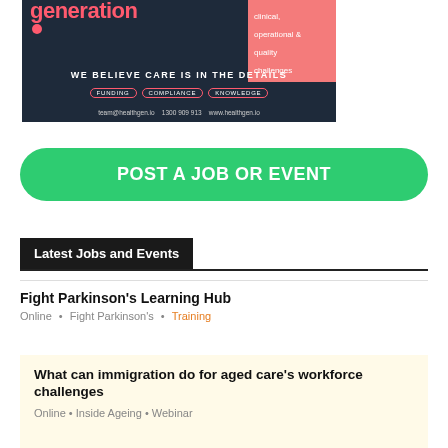[Figure (illustration): HealthGen advertisement banner with dark navy background, pink/coral logo text reading 'generation', pink box in top right with text 'clinical, operational & quality challenges', tagline 'WE BELIEVE CARE IS IN THE DETAILS', pills for FUNDING, COMPLIANCE, KNOWLEDGE, and contact info: team@healthgen.io 1300 909 913 www.healthgen.io]
POST A JOB OR EVENT
Latest Jobs and Events
Fight Parkinson's Learning Hub
Online • Fight Parkinson's • Training
What can immigration do for aged care's workforce challenges
Online • Inside Ageing • Webinar